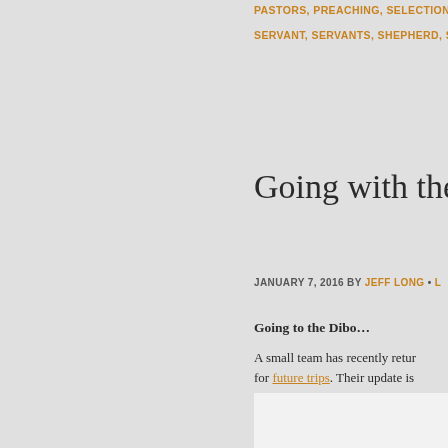PASTORS, PREACHING, SELECTION, SERVANT, SERVANTS, SHEPHERD, S
Going with the
JANUARY 7, 2016 BY JEFF LONG •
Going to the Dibo…
A small team has recently returned for future trips. Their update is among the 120,000 Dibo, one b serving this Muslim people gro insight into the work of God ar involved in reaching this peopl